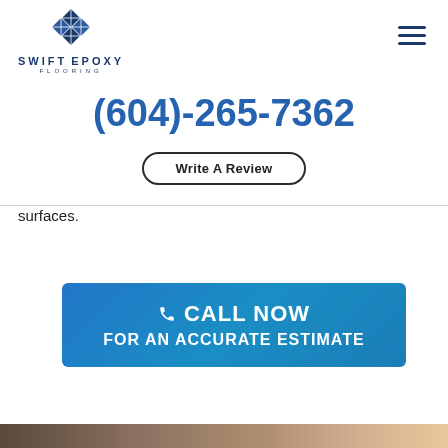[Figure (logo): Swift Epoxy Flooring logo with diamond/tile icon above company name]
(604)-265-7362
Write A Review
surfaces.
CALL NOW FOR AN ACCURATE ESTIMATE
[Figure (photo): Bottom strip showing flooring surface image]